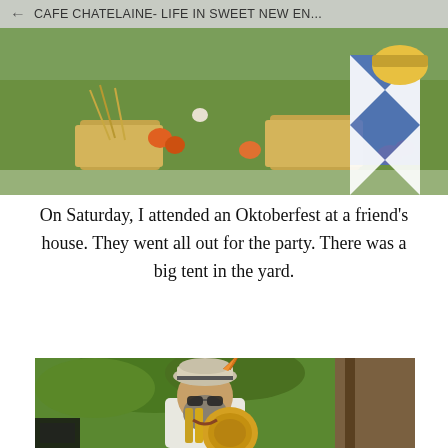CAFE CHATELAINE- LIFE IN SWEET NEW EN...
[Figure (photo): Outdoor autumn Oktoberfest scene with hay bales, pumpkins, and decorations including blue and white diamond-pattern flags on green grass]
On Saturday, I attended an Oktoberfest at a friend's house. They went all out for the party. There was a big tent in the yard.
[Figure (photo): A bearded man wearing a traditional Bavarian hat with feather and sunglasses, playing a trombone outdoors among trees]